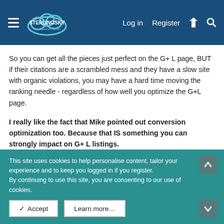Sterling Sky Local Search Forum — Log in | Register
So you can get all the pieces just perfect on the G+ L page, BUT if their citations are a scrambled mess and they have a slow site with organic violations, you may have a hard time moving the ranking needle - regardless of how well you optimize the G+L page.
I really like the fact that Mike pointed out conversion optimization too. Because that IS something you can strongly impact on G+ L listings.
If you get a client to rank high, but their listing is not compelling and does not generate clicks or calls then you have not helped them as much as you could.
This site uses cookies to help personalise content, tailor your experience and to keep you logged in if you register.
By continuing to use this site, you are consenting to our use of cookies.